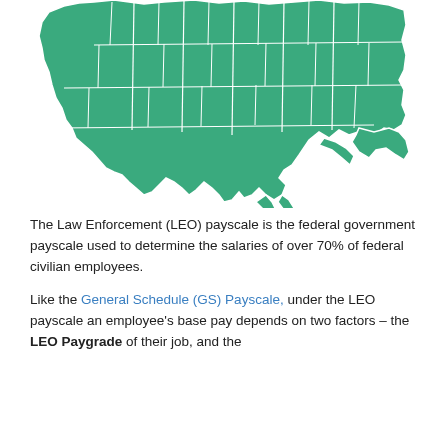[Figure (map): Green choropleth map of Louisiana showing parish boundaries in white outlines on a green (#3aaa7e) filled state shape.]
The Law Enforcement (LEO) payscale is the federal government payscale used to determine the salaries of over 70% of federal civilian employees.
Like the General Schedule (GS) Payscale, under the LEO payscale an employee's base pay depends on two factors – the LEO Paygrade of their job, and the